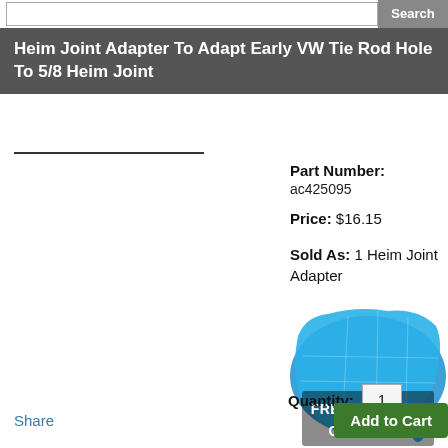Search
Heim Joint Adapter To Adapt Early VW Tie Rod Hole To 5/8 Heim Joint
Part Number: ac425095
Price: $16.15
Sold As: 1 Heim Joint Adapter
[Figure (infographic): Blue map of the United States with text FREE SHIPPING OVER $199]
Quantity: 1
Add to Cart
Share